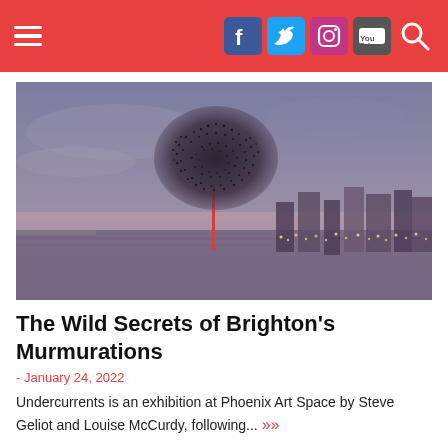Navigation header with hamburger menu and social icons (Facebook, Twitter, Instagram, YouTube, Search)
[Figure (photo): A large murmuration of starlings forming a dense spherical cloud shape above a tall pole or structure, with the Brighton seafront and city skyline visible in the twilight background.]
The Wild Secrets of Brighton's Murmurations
- January 24, 2022
Undercurrents is an exhibition at Phoenix Art Space by Steve Geliot and Louise McCurdy, following...